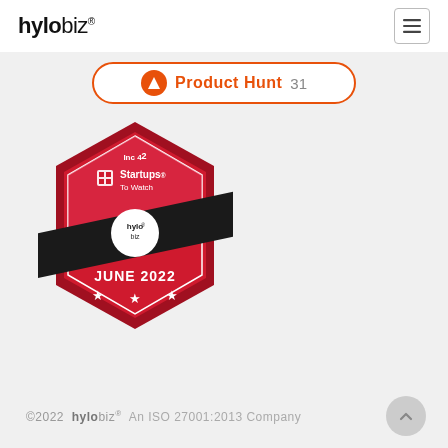hylobiz® [hamburger menu icon]
[Figure (logo): Product Hunt badge button with orange triangle icon, 'Product Hunt' text in orange, and number 31]
[Figure (illustration): Inc42 Startups To Watch badge for hylobiz, June 2022. Red hexagonal shield badge with black diagonal banner showing hylobiz logo in circle, stars at bottom, text: Inc42, Startups To Watch, hylobiz, JUNE 2022]
©2022 hylobiz® An ISO 27001:2013 Company